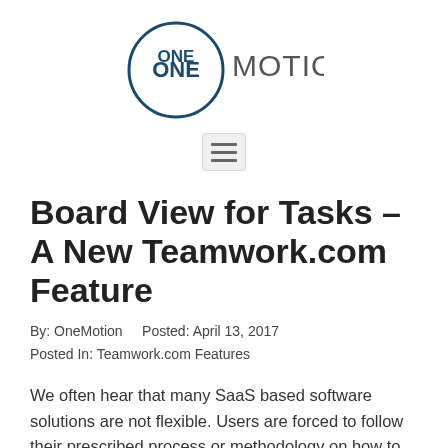[Figure (logo): OneMotion logo: circle with 'ONE' inside and 'MOTION' to the right in dark teal/navy sans-serif text]
[Figure (infographic): Hamburger menu icon (three horizontal lines) inside a light gray rounded rectangle button]
Board View for Tasks – A New Teamwork.com Feature
By: OneMotion    Posted: April 13, 2017
Posted In: Teamwork.com Features
We often hear that many SaaS based software solutions are not flexible. Users are forced to follow their prescribed process or methodology on how to do things. While this may be true and perhaps, a valid business model, one of the